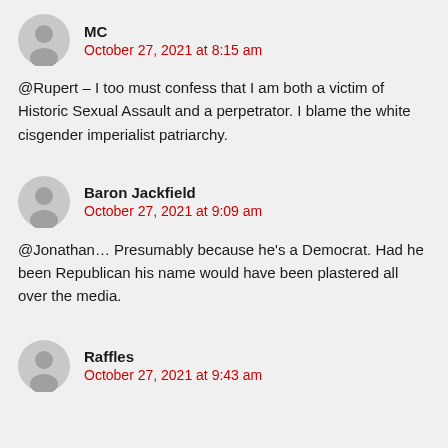MC
October 27, 2021 at 8:15 am
@Rupert – I too must confess that I am both a victim of Historic Sexual Assault and a perpetrator. I blame the white cisgender imperialist patriarchy.
Baron Jackfield
October 27, 2021 at 9:09 am
@Jonathan… Presumably because he's a Democrat. Had he been Republican his name would have been plastered all over the media.
Raffles
October 27, 2021 at 9:43 am